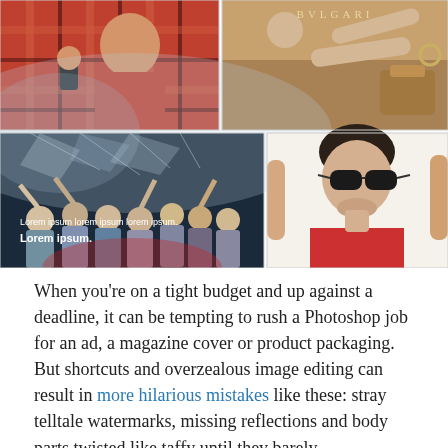[Figure (photo): 2x2 photo grid: top-left shows a man in a plaid shirt holding a phone; top-right shows a BVLGARI fashion advertisement with a woman reclining with luxury accessories; bottom-left shows a concert/performance scene with people raising hands and 'Lorem ipsum lorem ipsum lorem ipsum. Lorem ipsum.' text overlay; bottom-right shows a young man with dark hair wearing sunglasses and a red shirt.]
When you're on a tight budget and up against a deadline, it can be tempting to rush a Photoshop job for an ad, a magazine cover or product packaging. But shortcuts and overzealous image editing can result in more hilarious mistakes like these: stray telltale watermarks, missing reflections and body parts twisted like taffy until they barely